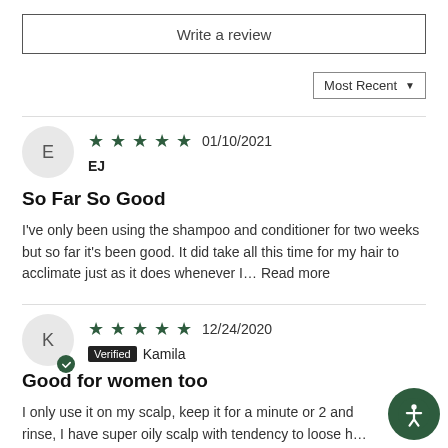Write a review
Most Recent
EJ  01/10/2021  ★★★★★
So Far So Good
I've only been using the shampoo and conditioner for two weeks but so far it's been good. It did take all this time for my hair to acclimate just as it does whenever I… Read more
Verified  Kamila  12/24/2020  ★★★★★
Good for women too
I only use it on my scalp, keep it for a minute or 2 and rinse, I have super oily scalp with tendency to loose h… Ever since I started using this shampoo my hair… Read more